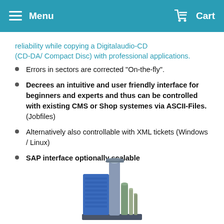Menu    Cart
reliability while copying a Digitalaudio-CD (CD-DA/ Compact Disc) with professional applications.
Errors in sectors are corrected "On-the-fly".
Decrees an intuitive and user friendly interface for beginners and experts and thus can be controlled with existing CMS or Shop systemes via ASCII-Files. (Jobfiles)
Alternatively also controllable with XML tickets (Windows / Linux)
SAP interface optionally scalable
[Figure (photo): Industrial CD/DVD duplication tower machine with cylindrical disc storage units]